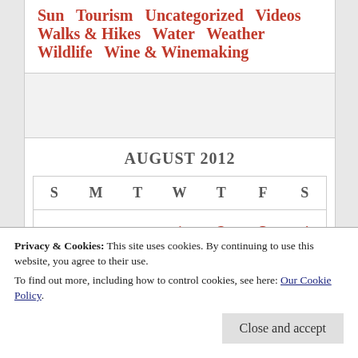Sun  Tourism  Uncategorized  Videos  Walks & Hikes  Water  Weather  Wildlife  Wine & Winemaking
[Figure (other): Gray spacer / advertisement area]
AUGUST 2012
| S | M | T | W | T | F | S |
| --- | --- | --- | --- | --- | --- | --- |
|  |  |  | 1 | 2 | 3 | 4 |
| 26 | 27 | 28 | 29 | 30 | 31 |  |
Privacy & Cookies: This site uses cookies. By continuing to use this website, you agree to their use.
To find out more, including how to control cookies, see here: Our Cookie Policy.
Close and accept